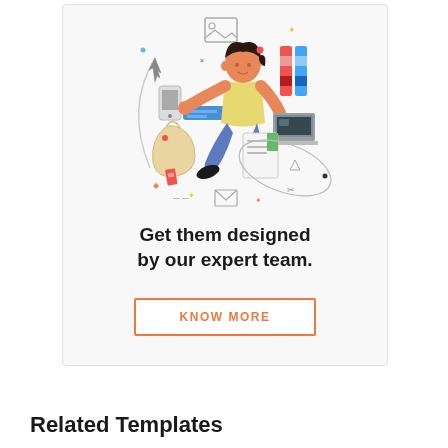[Figure (illustration): A cartoon illustration of a person floating in mid-air, multitasking with a laptop, phone, and various design elements like color swatches, image frames, and documents scattered around them. The figure wears a yellow shirt and blue pants with orange/tan skin.]
Get them designed by our expert team.
KNOW MORE
Related Templates